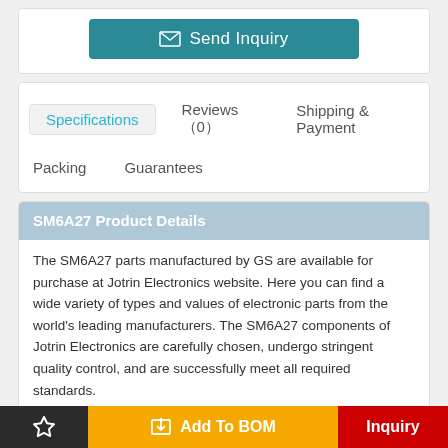[Figure (other): Send Inquiry button (teal/dark cyan color) with envelope icon]
Specifications
Reviews（0）
Shipping & Payment
Packing
Guarantees
SM6A27 Product Details
The SM6A27 parts manufactured by GS are available for purchase at Jotrin Electronics website. Here you can find a wide variety of types and values of electronic parts from the world's leading manufacturers. The SM6A27 components of Jotrin Electronics are carefully chosen, undergo stringent quality control, and are successfully meet all required standards.
The production status marked on Jotrin.com is for reference only.
[Figure (other): Bottom navigation bar with star/favorites (black), Add To BOM (orange), and Inquiry (red) buttons]